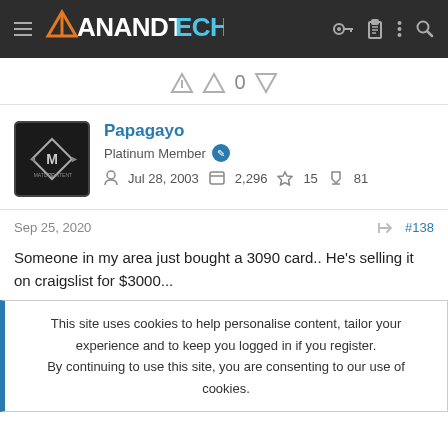AnandTech
0
Papagayo
Platinum Member
Jul 28, 2003  2,296  15  81
Sep 25, 2020  #138
Someone in my area just bought a 3090 card.. He's selling it on craigslist for $3000...

Once the supply goes up, prices will go down...
Be Patient..
This site uses cookies to help personalise content, tailor your experience and to keep you logged in if you register.
By continuing to use this site, you are consenting to our use of cookies.